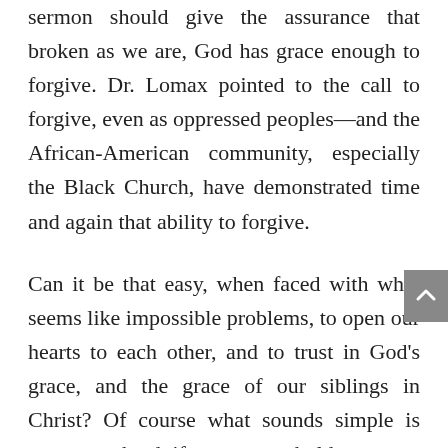sermon should give the assurance that broken as we are, God has grace enough to forgive. Dr. Lomax pointed to the call to forgive, even as oppressed peoples—and the African-American community, especially the Black Church, have demonstrated time and again that ability to forgive.

Can it be that easy, when faced with what seems like impossible problems, to open our hearts to each other, and to trust in God's grace, and the grace of our siblings in Christ? Of course what sounds simple is very, very hard, if we want to hold on to our illusion of control. But that control